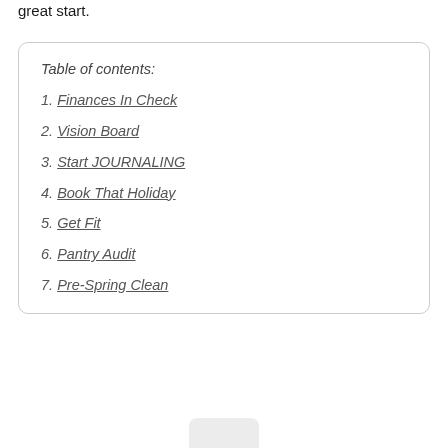great start.
Table of contents:
1. Finances In Check
2. Vision Board
3. Start JOURNALING
4. Book That Holiday
5. Get Fit
6. Pantry Audit
7. Pre-Spring Clean